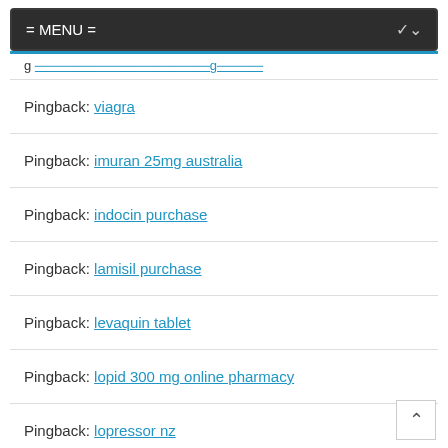= MENU =
Pingback: [truncated link]
Pingback: viagra
Pingback: imuran 25mg australia
Pingback: indocin purchase
Pingback: lamisil purchase
Pingback: levaquin tablet
Pingback: lopid 300 mg online pharmacy
Pingback: lopressor nz